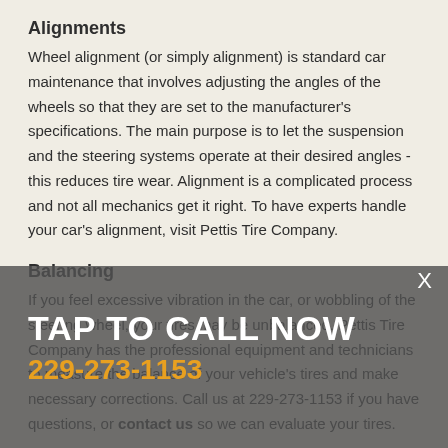Alignments
Wheel alignment (or simply alignment) is standard car maintenance that involves adjusting the angles of the wheels so that they are set to the manufacturer's specifications. The main purpose is to let the suspension and the steering systems operate at their desired angles - this reduces tire wear. Alignment is a complicated process and not all mechanics get it right. To have experts handle your car's alignment, visit Pettis Tire Company.
Balancing
If you feel excessive vibration in the car, or wobbling of the steering wheel, your tires may be unbalanced. Pettis Tire Company has the professional equipment and technicians to measure the balance of your vehicle's tires and make necessary corrections. Call us at 229-273-1153 if you have questions, or contact us so we can evaluate your tires.
TAP TO CALL NOW
229-273-1153